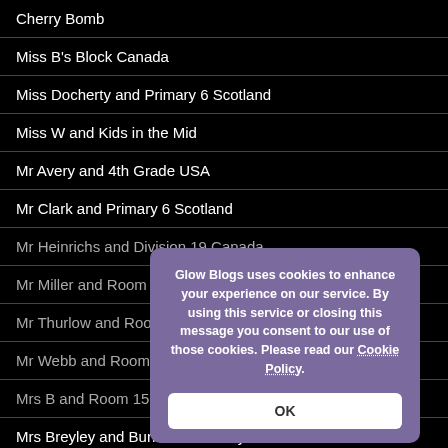Cherry Bomb
Miss B's Block Canada
Miss Docherty and Primary 6 Scotland
Miss W and Kids in the Mid
Mr Avery and 4th Grade USA
Mr Clark and Primary 6 Scotland
Mr Heinrichs and Division 19 Canada
Mr Miller and Room 162...
Mr Thurlow and Room 2 New Zealand
Mr Webb and Room 8 New Zealand
Mrs B and Room 15 New Zeala...
Mrs Breyley and Burravoe Primary School Scotland
[Figure (screenshot): Cookie consent dialog overlay: 'Glow Blogs uses cookies to enhance your experience on our service. By using this service or closing this message you consent to our use of those cookies. Please read our Cookie Policy.' with an OK button.]